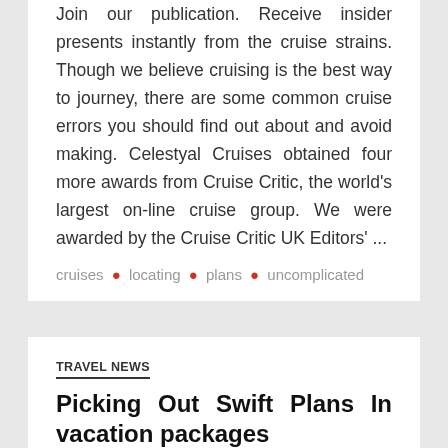Join our publication. Receive insider presents instantly from the cruise strains. Though we believe cruising is the best way to journey, there are some common cruise errors you should find out about and avoid making. Celestyal Cruises obtained four more awards from Cruise Critic, the world's largest on-line cruise group. We were awarded by the Cruise Critic UK Editors' ...
cruises • locating • plans • uncomplicated
TRAVEL NEWS
Picking Out Swift Plans In vacation packages
thomas • 29/08/2020
Vacation Packages